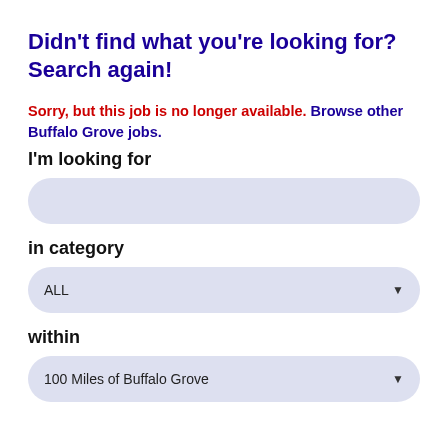Didn't find what you're looking for? Search again!
Sorry, but this job is no longer available. Browse other Buffalo Grove jobs.
I'm looking for
in category
ALL
within
100 Miles of Buffalo Grove